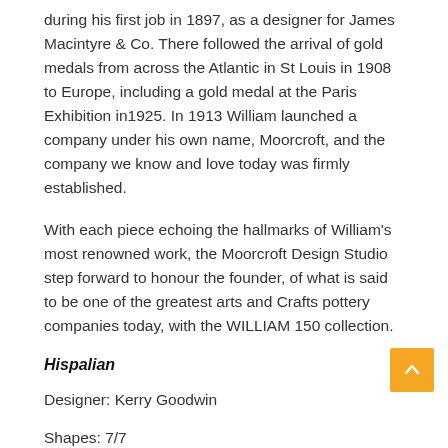during his first job in 1897, as a designer for James Macintyre & Co. There followed the arrival of gold medals from across the Atlantic in St Louis in 1908 to Europe, including a gold medal at the Paris Exhibition in1925. In 1913 William launched a company under his own name, Moorcroft, and the company we know and love today was firmly established.
With each piece echoing the hallmarks of William's most renowned work, the Moorcroft Design Studio step forward to honour the founder, of what is said to be one of the greatest arts and Crafts pottery companies today, with the WILLIAM 150 collection.
Hispalian
Designer: Kerry Goodwin
Shapes: 7/7
William Moorcroft's Hesperian Ware included designs